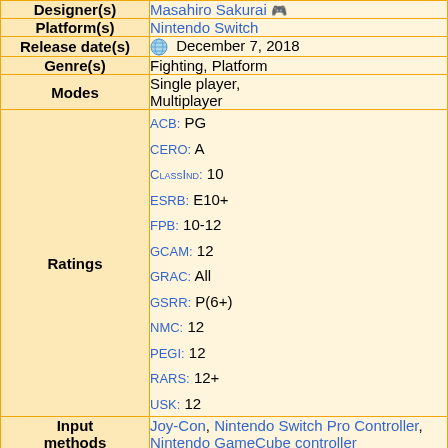| Field | Value |
| --- | --- |
| Designer(s) | Masahiro Sakurai |
| Platform(s) | Nintendo Switch |
| Release date(s) | December 7, 2018 |
| Genre(s) | Fighting, Platform |
| Modes | Single player, Multiplayer |
| Ratings | ACB: PG
CERO: A
ClassInd: 10
ESRB: E10+
FPB: 10-12
GCAM: 12
GRAC: All
GSRR: P(6+)
NMC: 12
PEGI: 12
RARS: 12+
USK: 12 |
| Input methods | Joy-Con, Nintendo Switch Pro Controller, Nintendo GameCube controller |